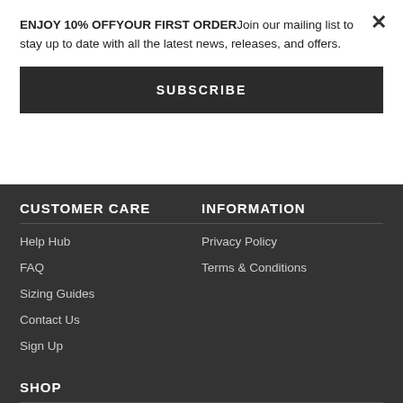ENJOY 10% OFFYOUR FIRST ORDERJoin our mailing list to stay up to date with all the latest news, releases, and offers.
SUBSCRIBE
CUSTOMER CARE
Help Hub
FAQ
Sizing Guides
Contact Us
Sign Up
INFORMATION
Privacy Policy
Terms & Conditions
SHOP